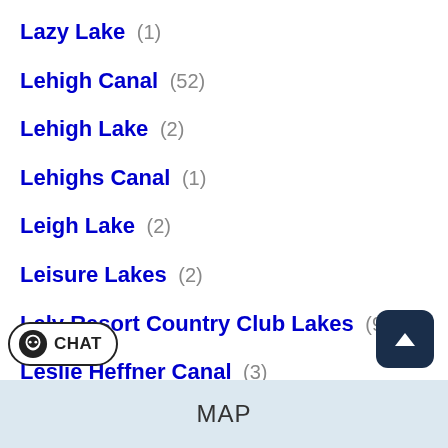Lazy Lake  (1)
Lehigh Canal  (52)
Lehigh Lake  (2)
Lehighs Canal  (1)
Leigh Lake  (2)
Leisure Lakes  (2)
Lely Resort Country Club Lakes  (9)
Leslie Heffner Canal  (3)
...eart Waterway  (1)
MAP